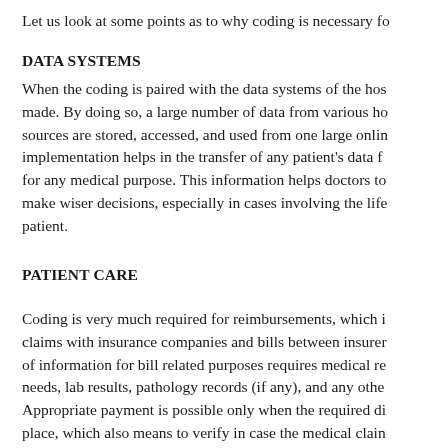Let us look at some points as to why coding is necessary fo
DATA SYSTEMS
When the coding is paired with the data systems of the hos made. By doing so, a large number of data from various ho sources are stored, accessed, and used from one large onlin implementation helps in the transfer of any patient's data f for any medical purpose. This information helps doctors to make wiser decisions, especially in cases involving the life patient.
PATIENT CARE
Coding is very much required for reimbursements, which i claims with insurance companies and bills between insurer of information for bill related purposes requires medical re needs, lab results, pathology records (if any), and any othe Appropriate payment is possible only when the required di place, which also means to verify in case the medical clain company.